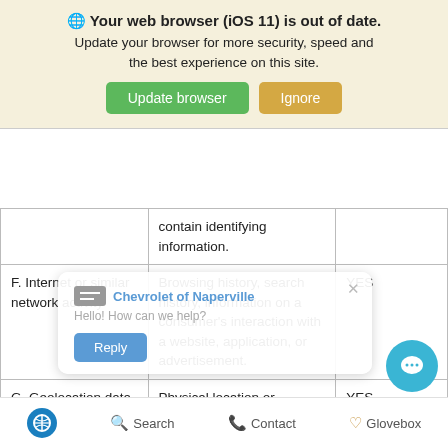[Figure (screenshot): Browser update banner: globe icon, bold text 'Your web browser (iOS 11) is out of date.', subtitle 'Update your browser for more security, speed and the best experience on this site.', green 'Update browser' button and tan 'Ignore' button]
|  | contain identifying information. |  |
| --- | --- | --- |
| F. Internet or similar network activity | Browsing history, search history, information on a consumer's interaction with a website, application, or advertisement. | YES |
| G. Geolocation data | Physical location or movements. | YES |
[Figure (screenshot): Chevrolet of Naperville chat popup overlay: logo, 'Hello! How can we help?' text, blue Reply button]
Accessibility | Search | Contact | Glovebox